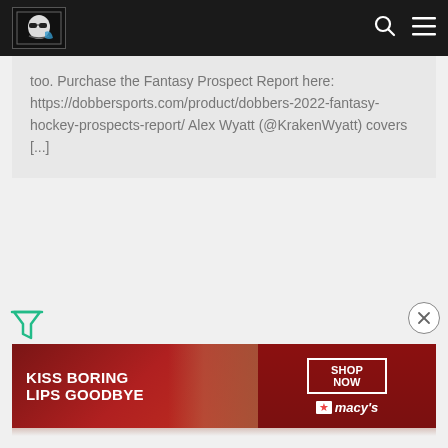Dobber Sports navigation header with logo, search icon, and menu icon
too. Purchase the Fantasy Prospect Report here: https://dobbersports.com/product/dobbers-2022-fantasy-hockey-prospects-report/ Alex Wyatt (@KrakenWyatt) covers [...]
[Figure (other): Green filter/funnel icon in lower left area of page]
[Figure (other): Gray circle X close button in right side of page]
[Figure (other): Macy's advertisement banner: KISS BORING LIPS GOODBYE with SHOP NOW button and Macy's star logo on dark red background with woman's face]